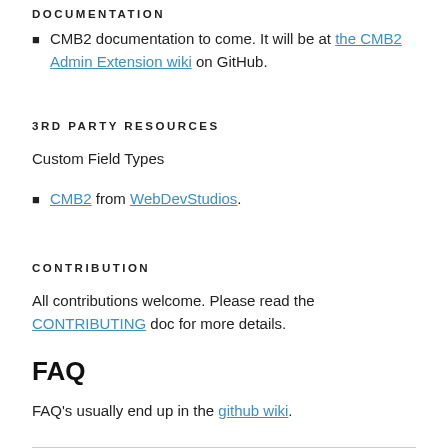DOCUMENTATION
CMB2 documentation to come. It will be at the CMB2 Admin Extension wiki on GitHub.
3RD PARTY RESOURCES
Custom Field Types
CMB2 from WebDevStudios.
CONTRIBUTION
All contributions welcome. Please read the CONTRIBUTING doc for more details.
FAQ
FAQ's usually end up in the github wiki.